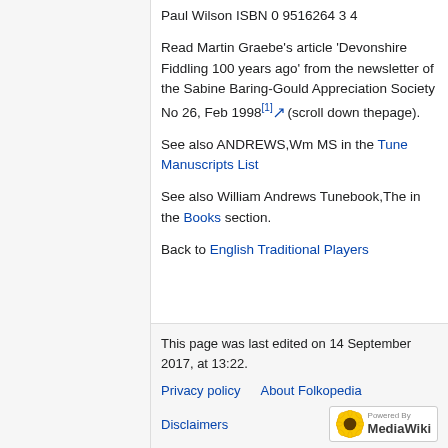Paul Wilson ISBN 0 9516264 3 4
Read Martin Graebe's article 'Devonshire Fiddling 100 years ago' from the newsletter of the Sabine Baring-Gould Appreciation Society No 26, Feb 1998[1] (scroll down thepage).
See also ANDREWS,Wm MS in the Tune Manuscripts List
See also William Andrews Tunebook,The in the Books section.
Back to English Traditional Players
This page was last edited on 14 September 2017, at 13:22.
Privacy policy   About Folkopedia
Disclaimers
[Figure (logo): Powered by MediaWiki logo with sunflower icon]